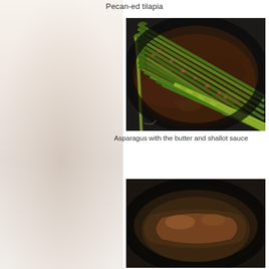Pecan-ed tilapia
[Figure (photo): Asparagus spears cooking in a black pan with butter and shallot sauce]
Asparagus with the butter and shallot sauce
[Figure (photo): Another food dish cooking in a dark pan, partially visible at bottom of page]